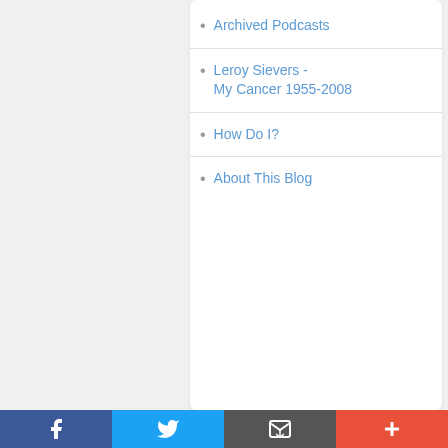Archived Podcasts
Leroy Sievers - My Cancer 1955-2008
How Do I?
About This Blog
SUBSCRIBE
Your email:
Enter email address...
Subscribe